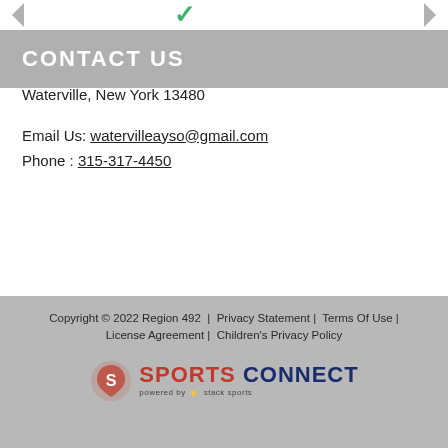[Figure (logo): Partial logo visible at top with green checkmark/swoosh and navigation arrows on left and right]
CONTACT US
WATERVILLE AYSO, REGION 492
P.O. Box 14
Waterville, New York 13480
Email Us: watervilleayso@gmail.com
Phone : 315-317-4450
Copyright © 2022 Region 492 | Privacy Statement | Terms Of Use | License Agreement | Children's Privacy Policy